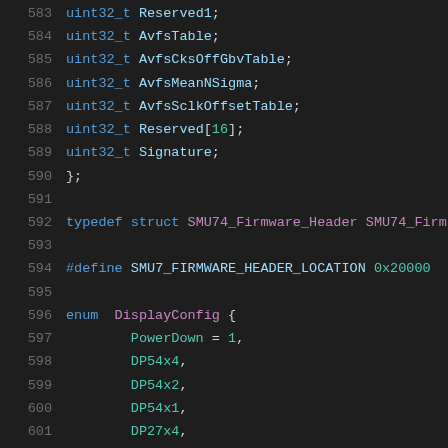583    uint32_t Reserved1;
584    uint32_t AvfsTable;
585    uint32_t AvfsCksOffGbvTable;
586    uint32_t AvfsMeanNSigma;
587    uint32_t AvfsSclkOffsetTable;
588    uint32_t Reserved[16];
589    uint32_t Signature;
590 };
591
592    typedef struct SMU74_Firmware_Header SMU74_Firm
593
594    #define SMU7_FIRMWARE_HEADER_LOCATION 0x20000
595
596    enum DisplayConfig {
597        PowerDown = 1,
598        DP54x4,
599        DP54x2,
600        DP54x1,
601        DP27x4,
602        DP27x2,
603        DP27x1,
604        HDMI297,